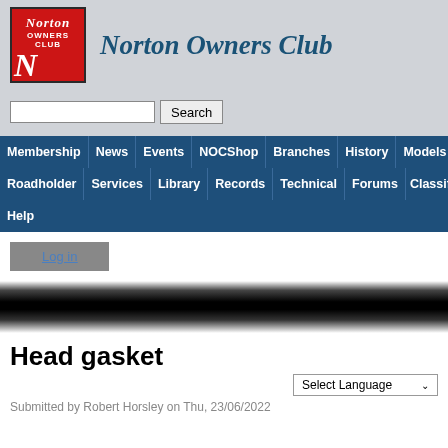[Figure (logo): Norton Owners Club red square logo with stylized N]
Norton Owners Club
Search
Membership | News | Events | NOCShop | Branches | History | Models
Roadholder | Services | Library | Records | Technical | Forums | Classifieds
Help
Log in
[Figure (photo): Dark banner image, blurred black and white gradient]
Head gasket
Select Language
Submitted by Robert Horsley on Thu, 23/06/2022